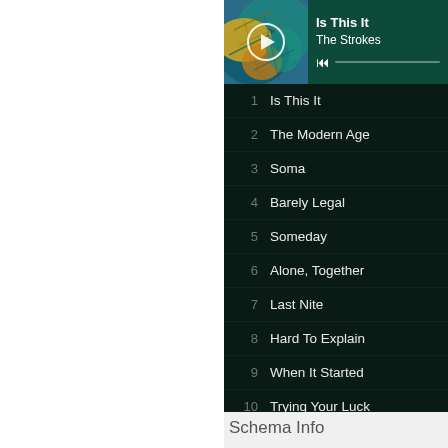[Figure (screenshot): Music player app showing album art for 'Is This It' by The Strokes with a play button overlay, progress bar, and tracklist on dark background]
1  Is This It
2  The Modern Age
3  Soma
4  Barely Legal
5  Someday
6  Alone, Together
7  Last Nite
8  Hard To Explain
9  When It Started
10  Trying Your Luck
Schema Info